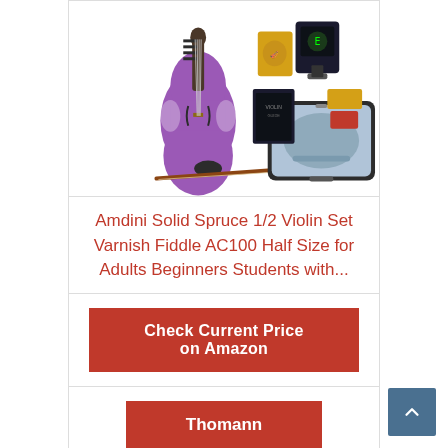[Figure (photo): Purple Amdini 1/2 violin set with bow, case, tuner, rosin, and extra strings displayed on white background]
Amdini Solid Spruce 1/2 Violin Set Varnish Fiddle AC100 Half Size for Adults Beginners Students with...
Check Current Price on Amazon
Thomann